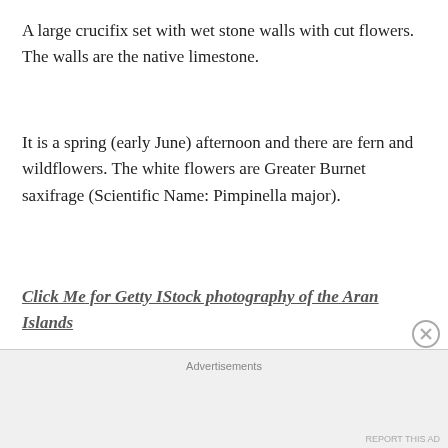A large crucifix set with wet stone walls with cut flowers. The walls are the native limestone.
It is a spring (early June) afternoon and there are fern and wildflowers. The white flowers are Greater Burnet saxifrage (Scientific Name: Pimpinella major).
Click Me for Getty IStock photography of the Aran Islands
The existing dry stone wall was interrupted by the shrine. In the distance are dry stone walls around fields, a stone shed, feeding horses and the sea,
Advertisements